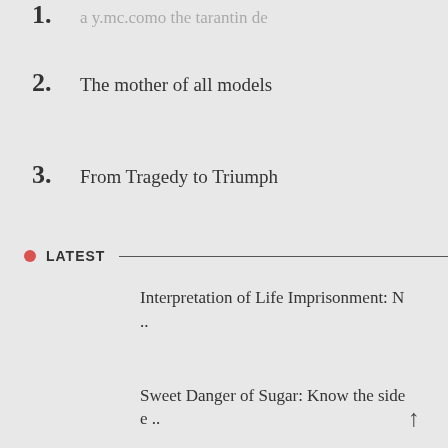1. [partially visible text]
2. The mother of all models
3. From Tragedy to Triumph
LATEST
Interpretation of Life Imprisonment: N ..
Sweet Danger of Sugar: Know the side e ..